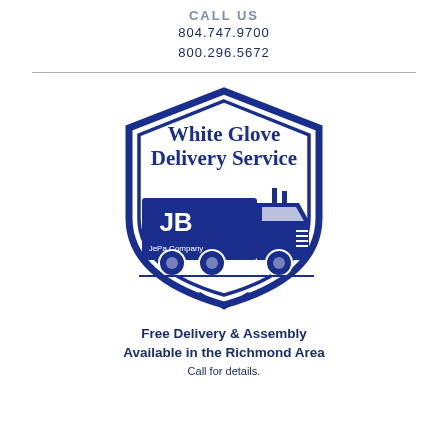CALL US
804.747.9700
800.296.5672
[Figure (logo): Shield-shaped logo with 'White Glove Delivery Service' text at top, a large blue semi-truck with 'JB JePa Company' on the trailer, all in dark navy blue on white background.]
Free Delivery & Assembly
Available in the Richmond Area
Call for details.